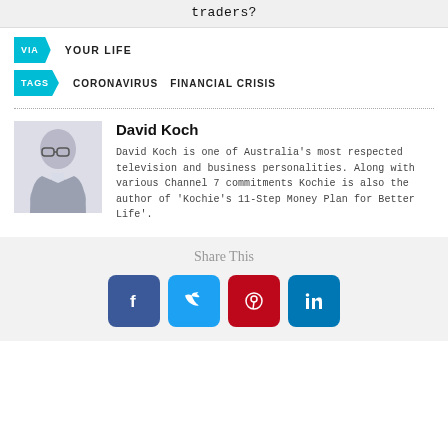traders?
VIA  YOUR LIFE
TAGS  CORONAVIRUS  FINANCIAL CRISIS
David Koch
David Koch is one of Australia's most respected television and business personalities. Along with various Channel 7 commitments Kochie is also the author of 'Kochie's 11-Step Money Plan for Better Life'.
Share This
[Figure (other): Share buttons: Facebook, Twitter, Pinterest, LinkedIn]